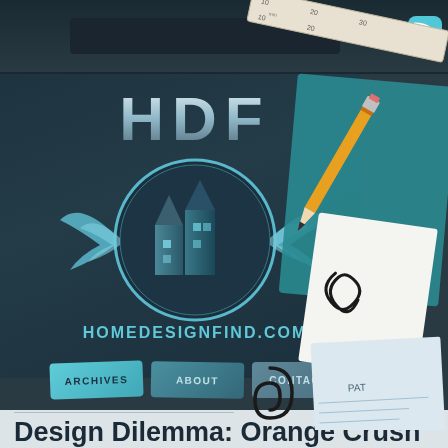[Figure (screenshot): Website screenshot of HomeDesignFind.com (HDF) showing the site header with logo, navigation bar (Archives, About, Contact), search bar, RSS link, and decorative design elements (ruler, pencil, paperclip, blueprint papers). Bottom shows article title 'Design Dilemma: Orange Crush'.]
Design Dilemma: Orange Crush